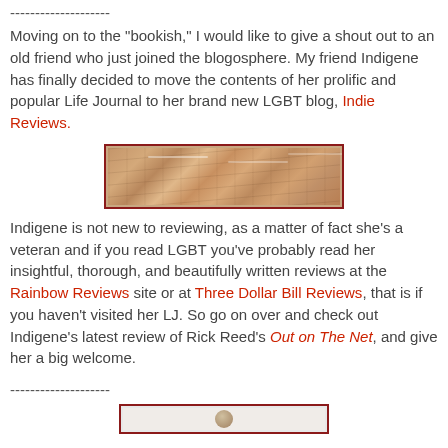--------------------
Moving on to the "bookish," I would like to give a shout out to an old friend who just joined the blogosphere. My friend Indigene has finally decided to move the contents of her prolific and popular Life Journal to her brand new LGBT blog, Indie Reviews.
[Figure (photo): Horizontal banner image with textured brownish surface, possibly stone or bark with inscriptions, bordered in dark red]
Indigene is not new to reviewing, as a matter of fact she's a veteran and if you read LGBT you've probably read her insightful, thorough, and beautifully written reviews at the Rainbow Reviews site or at Three Dollar Bill Reviews, that is if you haven't visited her LJ. So go on over and check out Indigene's latest review of Rick Reed's Out on The Net, and give her a big welcome.
--------------------
[Figure (photo): Partial view of another bordered image at the bottom of the page]